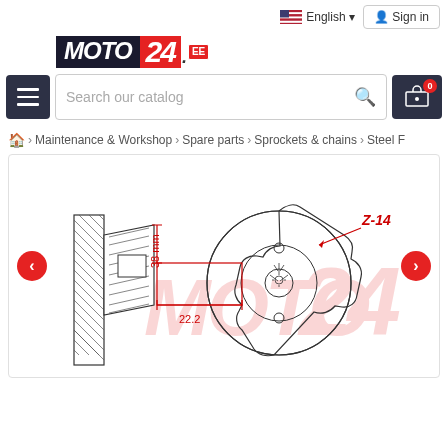[Figure (logo): Moto24.ee website logo — MOTO in dark background, 24 in red, .ee in red box]
Search our catalog
Sign in
English
🏠 > Maintenance & Workshop > Spare parts > Sprockets & chains > Steel F
[Figure (engineering-diagram): Technical engineering diagram of a steel front sprocket (Z-14) showing side profile with shaft, dimensions 38mm and 22.2mm labeled in red, Z-14 annotation, gear teeth visible, watermark logo in background]